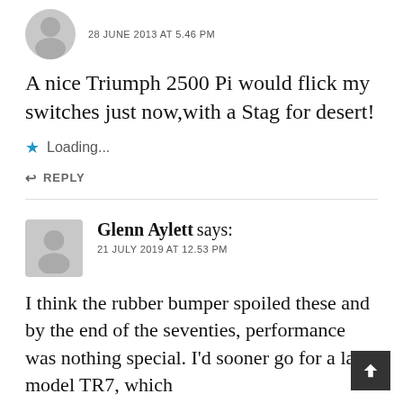28 JUNE 2013 AT 5.46 PM
A nice Triumph 2500 Pi would flick my switches just now,with a Stag for desert!
Loading...
REPLY
Glenn Aylett says:
21 JULY 2019 AT 12.53 PM
I think the rubber bumper spoiled these and by the end of the seventies, performance was nothing special. I'd sooner go for a late model TR7, which